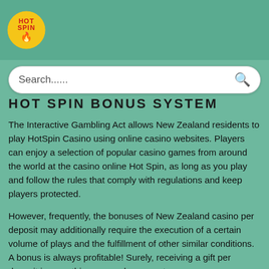[Figure (logo): HotSpin casino logo: yellow circle with red HOT SPIN text and flame icon]
Search......
HOT SPIN BONUS SYSTEM
The Interactive Gambling Act allows New Zealand residents to play HotSpin Casino using online casino websites. Players can enjoy a selection of popular casino games from around the world at the casino online Hot Spin, as long as you play and follow the rules that comply with regulations and keep players protected.
However, frequently, the bonuses of New Zealand casino per deposit may additionally require the execution of a certain volume of plays and the fulfillment of other similar conditions. A bonus is always profitable! Surely, receiving a gift per deposit is something every player wants.
Players get a free bonus when they register. As well, there are lotteries, tournaments and amazing coupons you can get a benefit with.